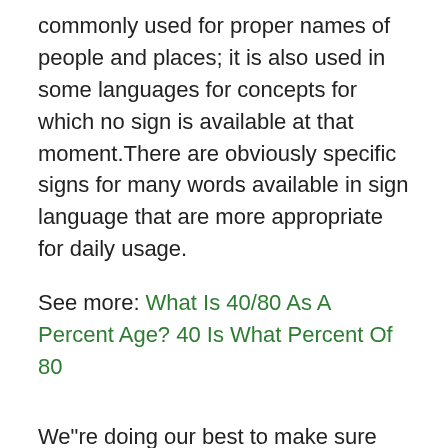commonly used for proper names of people and places; it is also used in some languages for concepts for which no sign is available at that moment.There are obviously specific signs for many words available in sign language that are more appropriate for daily usage.
See more: What Is 40/80 As A Percent Age? 40 Is What Percent Of 80
We"re doing our best to make sure our content is useful, accurate and safe.If by any chance you spot an inappropriate image within your search results please use this form to let us know, and we"ll take care of it shortly.
Nearby & related entries:Alternative searches for